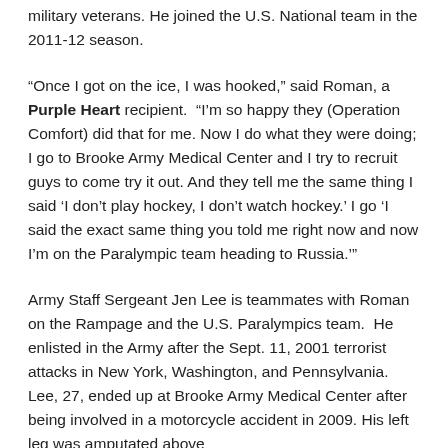military veterans. He joined the U.S. National team in the 2011-12 season.
“Once I got on the ice, I was hooked,” said Roman, a Purple Heart recipient.  “I’m so happy they (Operation Comfort) did that for me. Now I do what they were doing; I go to Brooke Army Medical Center and I try to recruit guys to come try it out. And they tell me the same thing I said ‘I don’t play hockey, I don’t watch hockey.’ I go ‘I said the exact same thing you told me right now and now I’m on the Paralympic team heading to Russia.’”
Army Staff Sergeant Jen Lee is teammates with Roman on the Rampage and the U.S. Paralympics team.  He enlisted in the Army after the Sept. 11, 2001 terrorist attacks in New York, Washington, and Pennsylvania. Lee, 27, ended up at Brooke Army Medical Center after being involved in a motorcycle accident in 2009. His left leg was amputated above